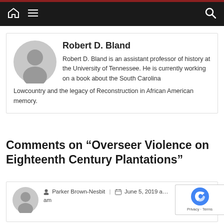Navigation bar with home icon, menu, and search
Robert D. Bland
Robert D. Bland is an assistant professor of history at the University of Tennessee. He is currently working on a book about the South Carolina Lowcountry and the legacy of Reconstruction in African American memory.
Comments on “Overseer Violence on Eighteenth Century Plantations”
Parker Brown-Nesbit | June 5, 2019 a… am